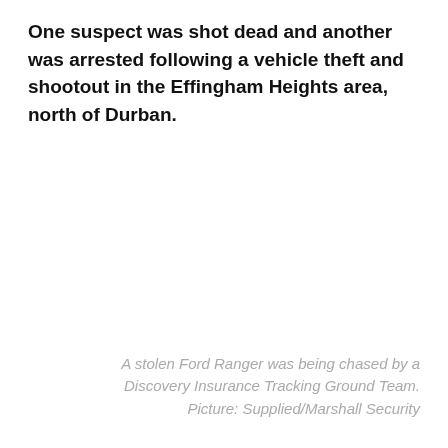One suspect was shot dead and another was arrested following a vehicle theft and shootout in the Effingham Heights area, north of Durban.
A stolen Ford Ranger was being chased by a Discovery Insurance Tracking Ground Team. Picture: Supplied/Marshall Security